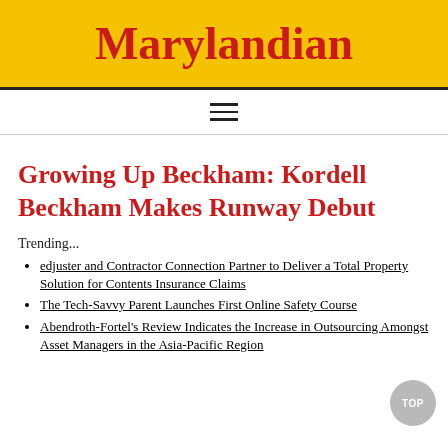Marylandian
Growing Up Beckham: Kordell Beckham Makes Runway Debut
Trending...
edjuster and Contractor Connection Partner to Deliver a Total Property Solution for Contents Insurance Claims
The Tech-Savvy Parent Launches First Online Safety Course
Abendroth-Fortel's Review Indicates the Increase in Outsourcing Amongst Asset Managers in the Asia-Pacific Region